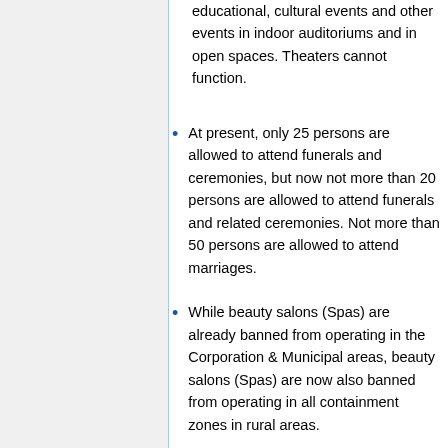educational, cultural events and other events in indoor auditoriums and in open spaces. Theaters cannot function.
At present, only 25 persons are allowed to attend funerals and ceremonies, but now not more than 20 persons are allowed to attend funerals and related ceremonies. Not more than 50 persons are allowed to attend marriages.
While beauty salons (Spas) are already banned from operating in the Corporation & Municipal areas, beauty salons (Spas) are now also banned from operating in all containment zones in rural areas.
The night curfews and weekend curfews are still in place as previously